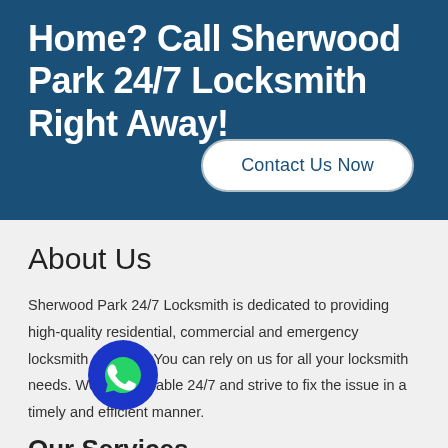Home? Call Sherwood Park 24/7 Locksmith Right Away!
Contact Us Now
About Us
Sherwood Park 24/7 Locksmith is dedicated to providing high-quality residential, commercial and emergency locksmith services. You can rely on us for all your locksmith needs. We are available 24/7 and strive to fix the issue in a timely and efficient manner.
Our Services